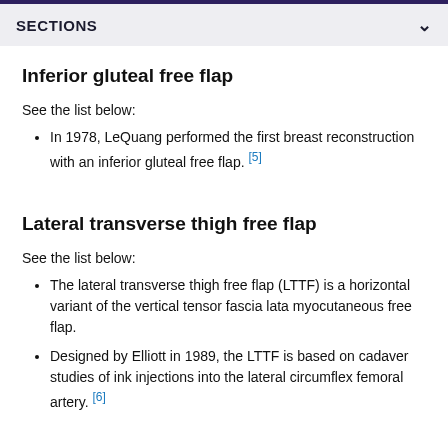SECTIONS
Inferior gluteal free flap
See the list below:
In 1978, LeQuang performed the first breast reconstruction with an inferior gluteal free flap. [5]
Lateral transverse thigh free flap
See the list below:
The lateral transverse thigh free flap (LTTF) is a horizontal variant of the vertical tensor fascia lata myocutaneous free flap.
Designed by Elliott in 1989, the LTTF is based on cadaver studies of ink injections into the lateral circumflex femoral artery. [6]